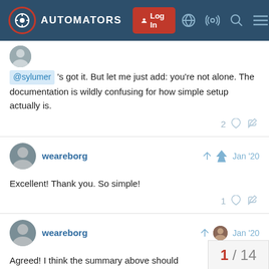AUTOMATORS — Log In navigation bar
@sylumer 's got it. But let me just add: you're not alone. The documentation is wildly confusing for how simple setup actually is.
2 likes, link
weareborg  Jan '20
Excellent! Thank you. So simple!
1 like, link
weareborg  Jan '20
Agreed! I think the summary above should
1 / 14